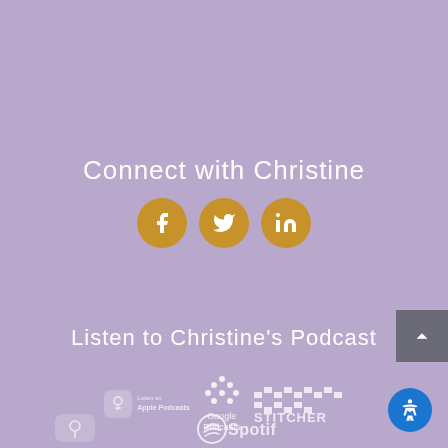Connect with Christine
[Figure (infographic): Three gold circular social media icons: Facebook (f), Twitter (bird), LinkedIn (in)]
Listen to Christine's Podcast
[Figure (logo): Apple Podcasts logo in white/grey]
[Figure (logo): Google Podcasts logo in white]
[Figure (logo): Stitcher logo in white]
[Figure (logo): Spotify partial logo at bottom]
[Figure (infographic): Back to top button (grey box with up arrow)]
[Figure (infographic): Accessibility button (blue circle with person icon)]